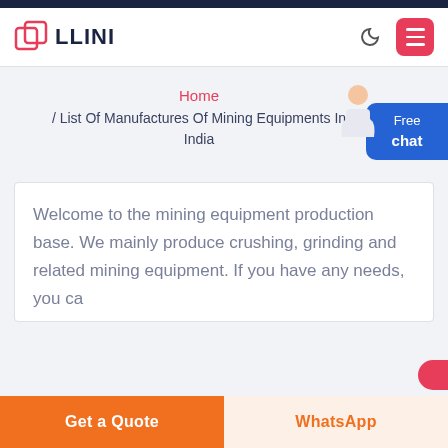LLINI
Home
/ List Of Manufactures Of Mining Equipments In India
Welcome to the mining equipment production base. We mainly produce crushing, grinding and related mining equipment. If you have any needs, you ca
Get a Quote
WhatsApp